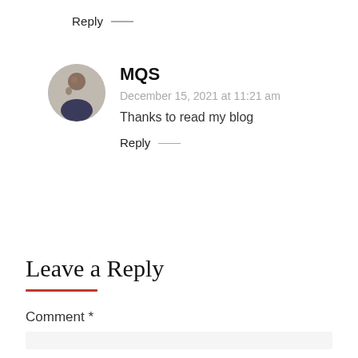Reply —
MQS
December 15, 2021 at 11:21 am
Thanks to read my blog
Reply —
Leave a Reply
Comment *